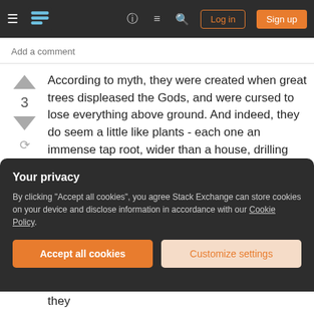Navigation bar with hamburger menu, logo, help, chat, search icons, Log in and Sign up buttons
Add a comment
According to myth, they were created when great trees displeased the Gods, and were cursed to lose everything above ground. And indeed, they do seem a little like plants - each one an immense tap root, wider than a house, drilling deep into the rock.
They branch. Branches snake off horizontally through the stone, beloved by miners because the bloody wood is easier to tunnel through than rock.
Your privacy
By clicking "Accept all cookies", you agree Stack Exchange can store cookies on your device and disclose information in accordance with our Cookie Policy.
Accept all cookies
Customize settings
But the main tap roots go only down. Perhaps they